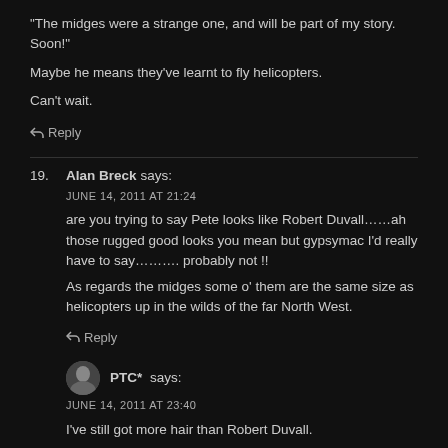“The midges were a strange one, and will be part of my story. Soon!”

Maybe he means they've learnt to fly helicopters.

Can’t wait.
↩Reply
19. Alan Breck says:
JUNE 14, 2011 AT 21:24
are you trying to say Pete looks like Robert Duvall……ah those rugged good looks you mean but gypsymac I’d really have to say……….. probably not !!

As regards the midges some o’ them are the same size as helicopters up in the wilds of the far North West.
↩Reply
PTC* says:
JUNE 14, 2011 AT 23:40
I’ve still got more hair than Robert Duvall.

I saw a chopper circling Poolewe on my walk out and as often happens